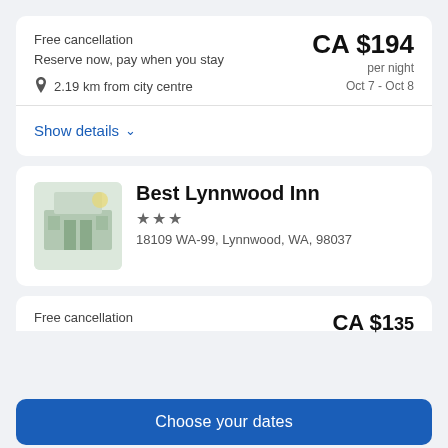Free cancellation
Reserve now, pay when you stay
CA $194 per night
Oct 7 - Oct 8
2.19 km from city centre
Show details
Best Lynnwood Inn
★★★
18109 WA-99, Lynnwood, WA, 98037
Free cancellation
CA $135
Choose your dates